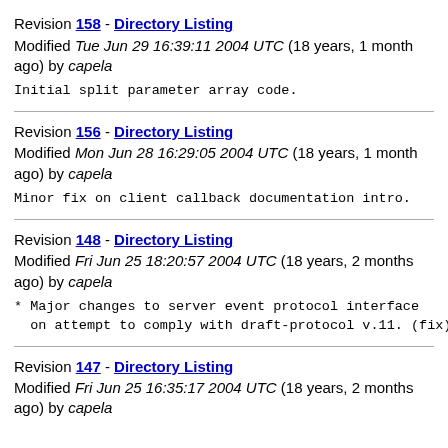Revision 158 - Directory Listing
Modified Tue Jun 29 16:39:11 2004 UTC (18 years, 1 month ago) by capela
Initial split parameter array code.
Revision 156 - Directory Listing
Modified Mon Jun 28 16:29:05 2004 UTC (18 years, 1 month ago) by capela
Minor fix on client callback documentation intro.
Revision 148 - Directory Listing
Modified Fri Jun 25 18:20:57 2004 UTC (18 years, 2 months ago) by capela
* Major changes to server event protocol interface
  on attempt to comply with draft-protocol v.11. (fix).
Revision 147 - Directory Listing
Modified Fri Jun 25 16:35:17 2004 UTC (18 years, 2 months ago) by capela